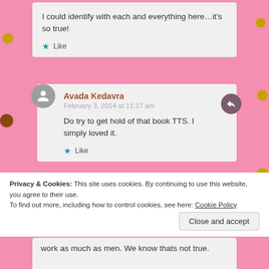I could identify with each and everything here…it's so true!
Like
Avada Kedavra
February 3, 2014 at 11:17 am
Do try to get hold of that book TTS. I simply loved it.
Like
Dil On The Rocks
Privacy & Cookies: This site uses cookies. By continuing to use this website, you agree to their use.
To find out more, including how to control cookies, see here: Cookie Policy
Close and accept
work as much as men. We know thats not true.